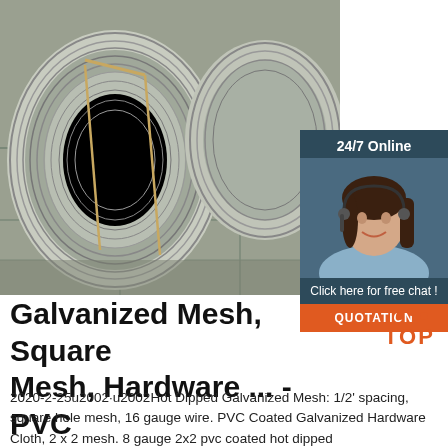[Figure (photo): Coils of galvanized wire stacked on a tiled floor in a warehouse or storage area]
[Figure (photo): Customer service agent woman with headset smiling, with '24/7 Online' header, 'Click here for free chat!' text, and orange QUOTATION button]
Galvanized Mesh, Square Mesh, Hardware ... - PVC Coated Wire
2020-2-25u2002·u2002Hot Dipped Galvanized Mesh: 1/2' spacing, square hole mesh, 16 gauge wire. PVC Coated Galvanized Hardware Cloth, 2 x 2 mesh. 8 gauge 2x2 pvc coated hot dipped